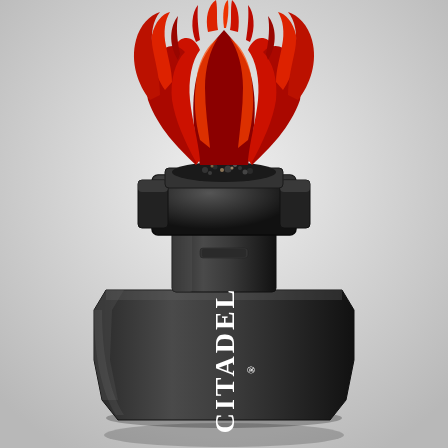[Figure (photo): A black Citadel painting handle/miniature holder with a branded 'CITADEL®' logo in white text on the front. The holder has a wide octagonal base tapering upward to a rectangular clamping top mechanism. On top of the holder sits a painted Warhammer-style miniature figure featuring red and orange demonic/daemonic forms emerging from a black rocky base.]